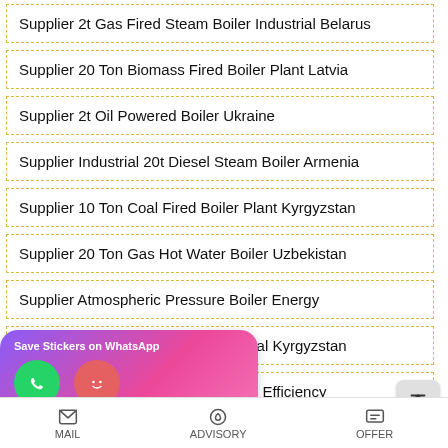Supplier 2t Gas Fired Steam Boiler Industrial Belarus
Supplier 20 Ton Biomass Fired Boiler Plant Latvia
Supplier 2t Oil Powered Boiler Ukraine
Supplier Industrial 20t Diesel Steam Boiler Armenia
Supplier 10 Ton Coal Fired Boiler Plant Kyrgyzstan
Supplier 20 Ton Gas Hot Water Boiler Uzbekistan
Supplier Atmospheric Pressure Boiler Energy
Supplier 4t Gas Boiler Plant Industrial Kyrgyzstan
Supplier 8t Diesel Boiler Brand High Efficiency
el Boiler Moldavia
MAIL   ADVISORY   OFFER